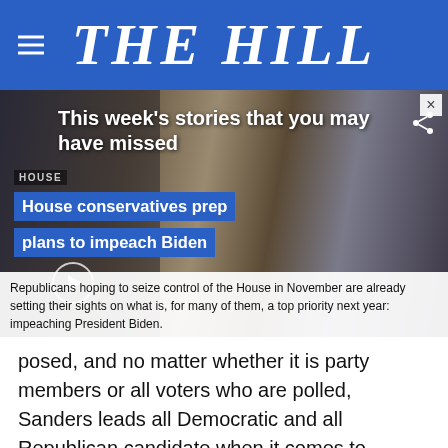THE HILL
[Figure (screenshot): Video thumbnail showing This week's stories that you may have missed — House conservatives prep plans to impeach Biden, with photos of political figures and text overlay: Republicans hoping to seize control of the House in November are already setting their sights on what is, for many of them, a top priority next year: impeaching President Biden.]
posed, and no matter whether it is party members or all voters who are polled, Sanders leads all Democratic and all Republican candidate when it comes to honesty, trustworthiness or net favorable/unfavorable ratings.